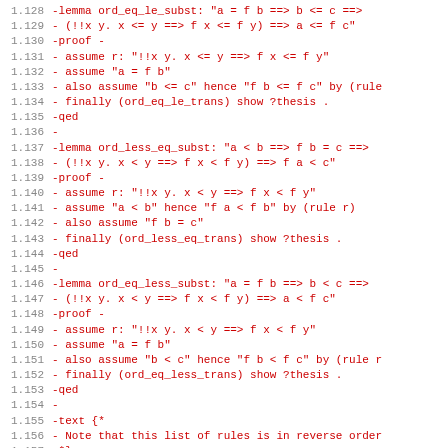1.128  -lemma ord_eq_le_subst: "a = f b ==> b <= c ==>
1.129  -  (!!x y. x <= y ==> f x <= f y) ==> a <= f c"
1.130  -proof -
1.131  -  assume r: "!!x y. x <= y ==> f x <= f y"
1.132  -  assume "a = f b"
1.133  -  also assume "b <= c" hence "f b <= f c" by (rule
1.134  -  finally (ord_eq_le_trans) show ?thesis .
1.135  -qed
1.136  -
1.137  -lemma ord_less_eq_subst: "a < b ==> f b = c ==>
1.138  -  (!!x y. x < y ==> f x < f y) ==> f a < c"
1.139  -proof -
1.140  -  assume r: "!!x y. x < y ==> f x < f y"
1.141  -  assume "a < b" hence "f a < f b" by (rule r)
1.142  -  also assume "f b = c"
1.143  -  finally (ord_less_eq_trans) show ?thesis .
1.144  -qed
1.145  -
1.146  -lemma ord_eq_less_subst: "a = f b ==> b < c ==>
1.147  -  (!!x y. x < y ==> f x < f y) ==> a < f c"
1.148  -proof -
1.149  -  assume r: "!!x y. x < y ==> f x < f y"
1.150  -  assume "a = f b"
1.151  -  also assume "b < c" hence "f b < f c" by (rule r
1.152  -  finally (ord_eq_less_trans) show ?thesis .
1.153  -qed
1.154  -
1.155  -text {*
1.156  -  Note that this list of rules is in reverse order
1.157  -*-}
1.158  -
1.159  -lemmas basic_trans_rules [trans] =